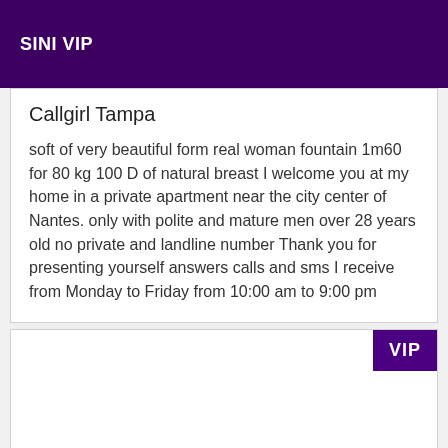SINI VIP
Callgirl Tampa
soft of very beautiful form real woman fountain 1m60 for 80 kg 100 D of natural breast I welcome you at my home in a private apartment near the city center of Nantes. only with polite and mature men over 28 years old no private and landline number Thank you for presenting yourself answers calls and sms I receive from Monday to Friday from 10:00 am to 9:00 pm
[Figure (other): VIP badge in top-right corner of a white card]